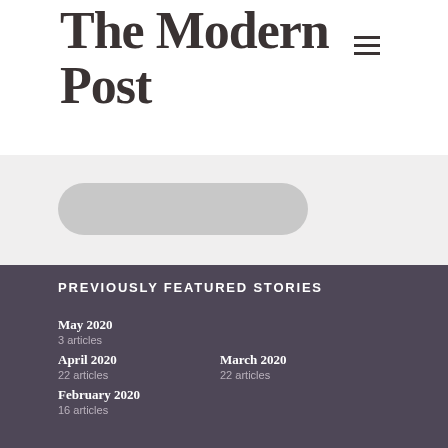The Modern Post
[Figure (screenshot): Partial screenshot showing a rounded pill-shaped gray UI element on a light gray background]
PREVIOUSLY FEATURED STORIES
May 2020
3 articles
April 2020
22 articles
March 2020
22 articles
February 2020
16 articles